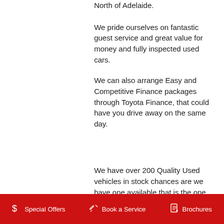North of Adelaide.
We pride ourselves on fantastic guest service and great value for money and fully inspected used cars.
We can also arrange Easy and Competitive Finance packages through Toyota Finance, that could have you drive away on the same day.
We have over 200 Quality Used vehicles in stock chances are we have one available that is the one you are looking for.
$ Special Offers   Book a Service   Brochures